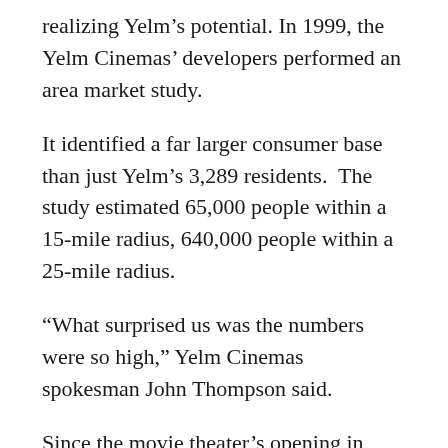realizing Yelm’s potential. In 1999, the Yelm Cinemas’ developers performed an area market study.
It identified a far larger consumer base than just Yelm’s 3,289 residents.  The study estimated 65,000 people within a 15-mile radius, 640,000 people within a 25-mile radius.
“What surprised us was the numbers were so high,” Yelm Cinemas spokesman John Thompson said.
Since the movie theater’s opening in December 2000, attendance has exceeded market study expectations, Thompson added.